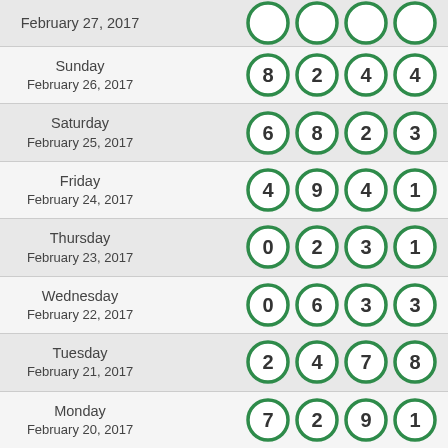| Date | Numbers |
| --- | --- |
| Monday February 27, 2017 |  |
| Sunday February 26, 2017 | 8 2 4 4 |
| Saturday February 25, 2017 | 6 8 2 3 |
| Friday February 24, 2017 | 4 9 4 1 |
| Thursday February 23, 2017 | 0 2 3 1 |
| Wednesday February 22, 2017 | 0 6 3 3 |
| Tuesday February 21, 2017 | 2 4 7 8 |
| Monday February 20, 2017 | 7 2 9 1 |